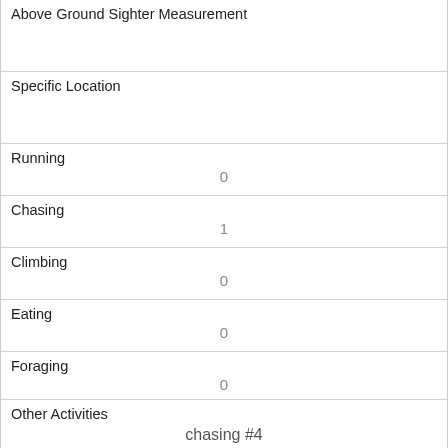Above Ground Sighter Measurement
Specific Location
Running
0
Chasing
1
Climbing
0
Eating
0
Foraging
0
Other Activities
chasing #4
Kuks
0
Quaas
0